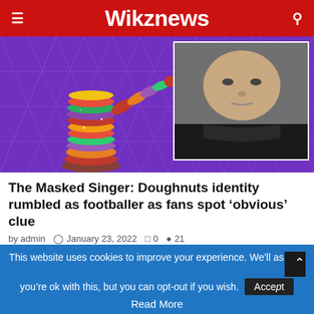Wikznews
[Figure (photo): Hero image showing a donut-costume character on a purple triangle-grid stage background, with an inset photo of a middle-aged man in a dark scarf]
The Masked Singer: Doughnuts identity rumbled as footballer as fans spot ‘obvious’ clue
by admin  © January 23, 2022  □ 0  ● 21
THE MASKED SINGER’S Doughnuts has been ‘unmasked’ by ITV
This website uses cookies to improve your experience. We’ll as you’re ok with this, but you can opt-out if you wish.
Read More